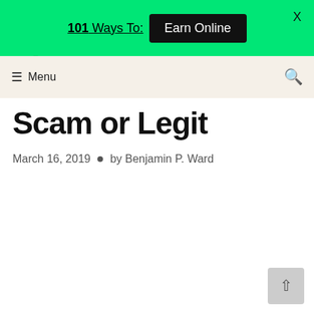101 Ways To: Earn Online  X
☰ Menu  🔍
Figure Mentors a Scam or Legit
March 16, 2019  •  by Benjamin P. Ward